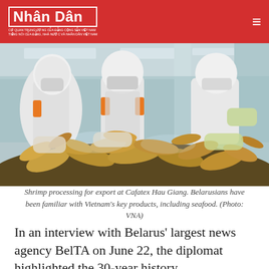Nhân Dân
[Figure (photo): Workers in white protective suits and masks processing shrimp at a seafood factory (Cafatex Hau Giang). Large pile of shrimp visible in foreground.]
Shrimp processing for export at Cafatex Hau Giang. Belarusians have been familiar with Vietnam's key products, including seafood. (Photo: VNA)
In an interview with Belarus' largest news agency BelTA on June 22, the diplomat highlighted the 30-year history